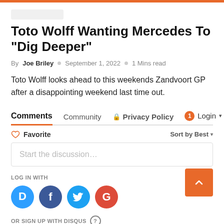Toto Wolff Wanting Mercedes To "Dig Deeper"
By Joe Briley  ○  September 1, 2022  ○  1 Mins read
Toto Wolff looks ahead to this weekends Zandvoort GP after a disappointing weekend last time out.
Comments   Community   🔒 Privacy Policy   1 Login ▾
♡ Favorite   Sort by Best ▾
Start the discussion…
LOG IN WITH
[Figure (other): Social login icons: Disqus (D), Facebook (f), Twitter bird, Google (G)]
OR SIGN UP WITH DISQUS ?